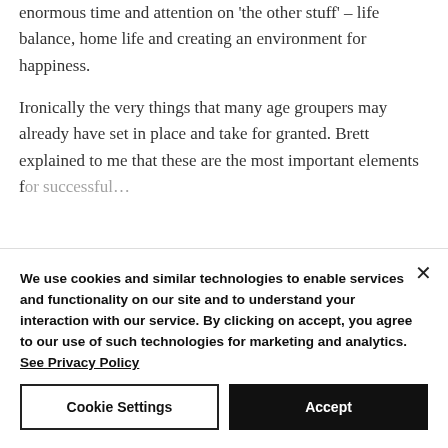'the other stuff' – life balance, home life and creating an environment for happiness.
Ironically the very things that many age groupers may already have set in place and take for granted. Brett explained to me that these are the most important elements for...
We use cookies and similar technologies to enable services and functionality on our site and to understand your interaction with our service. By clicking on accept, you agree to our use of such technologies for marketing and analytics. See Privacy Policy
Cookie Settings
Accept